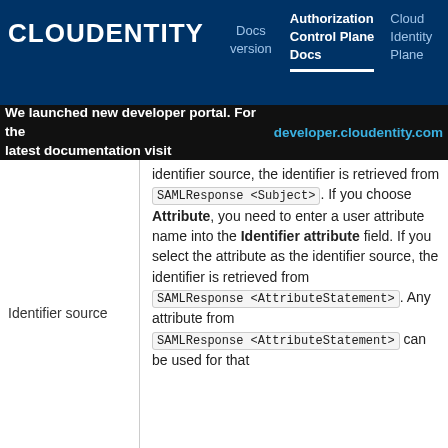CLOUDENTITY | Docs version | Authorization Control Plane Docs | Cloud Identity Plane
We launched new developer portal. For the latest documentation visit developer.cloudentity.com
|  |  |
| --- | --- |
| Identifier source | identifier source, the identifier is retrieved from SAMLResponse <Subject>. If you choose Attribute, you need to enter a user attribute name into the Identifier attribute field. If you select the attribute as the identifier source, the identifier is retrieved from SAMLResponse <AttributeStatement>. Any attribute from SAMLResponse <AttributeStatement> can be used for that |